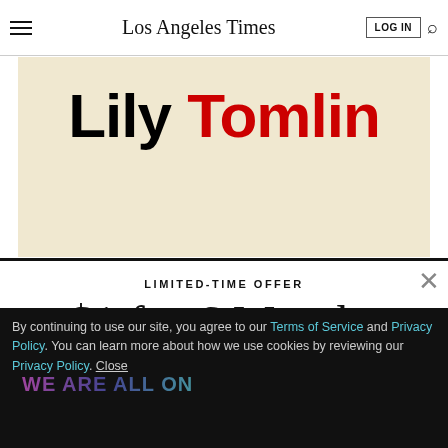Los Angeles Times | LOG IN | Search
[Figure (illustration): Beige/cream colored background with large bold text 'Lily Tomlin' where 'Lily' is black and 'Tomlin' is red]
LIMITED-TIME OFFER
$1 for 6 Months
SUBSCRIBE NOW
By continuing to use our site, you agree to our Terms of Service and Privacy Policy. You can learn more about how we use cookies by reviewing our Privacy Policy. Close